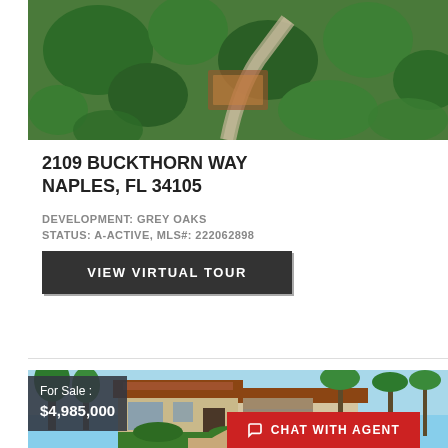[Figure (photo): Aerial view of a property with green landscaping, trees, and a driveway visible from above]
2109 BUCKTHORN WAY
NAPLES, FL 34105
DEVELOPMENT: GREY OAKS
STATUS: A-ACTIVE, MLS#: 222062898
VIEW VIRTUAL TOUR
[Figure (photo): Front exterior of a luxury Mediterranean-style home with tile roof, garage, palm trees, and circular driveway]
For Sale :
$4,985,000
CHAT WITH AGENT